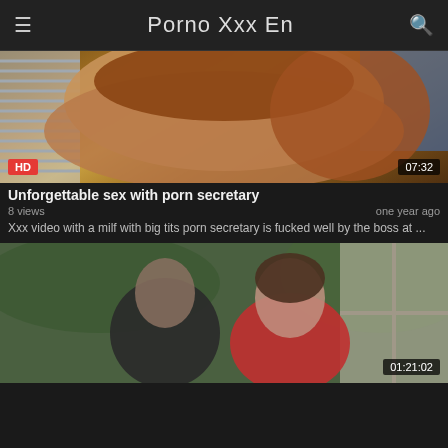Porno Xxx En
[Figure (photo): Video thumbnail showing close-up of woman with HD badge and 07:32 duration]
Unforgettable sex with porn secretary
8 views                   one year ago
Xxx video with a milf with big tits porn secretary is fucked well by the boss at ...
[Figure (photo): Video thumbnail showing man and woman near window, duration 01:21:02]